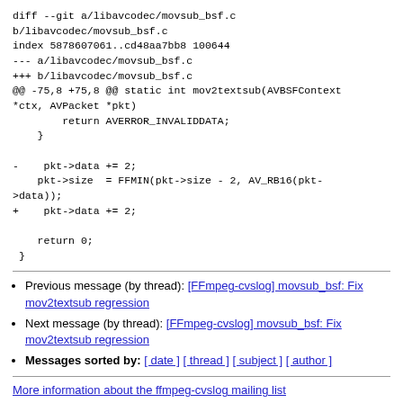diff --git a/libavcodec/movsub_bsf.c b/libavcodec/movsub_bsf.c
index 5878607061..cd48aa7bb8 100644
--- a/libavcodec/movsub_bsf.c
+++ b/libavcodec/movsub_bsf.c
@@ -75,8 +75,8 @@ static int mov2textsub(AVBSFContext *ctx, AVPacket *pkt)
        return AVERROR_INVALIDDATA;
    }

-    pkt->data += 2;
    pkt->size  = FFMIN(pkt->size - 2, AV_RB16(pkt->data));
+    pkt->data += 2;

    return 0;
 }
Previous message (by thread): [FFmpeg-cvslog] movsub_bsf: Fix mov2textsub regression
Next message (by thread): [FFmpeg-cvslog] movsub_bsf: Fix mov2textsub regression
Messages sorted by: [ date ] [ thread ] [ subject ] [ author ]
More information about the ffmpeg-cvslog mailing list